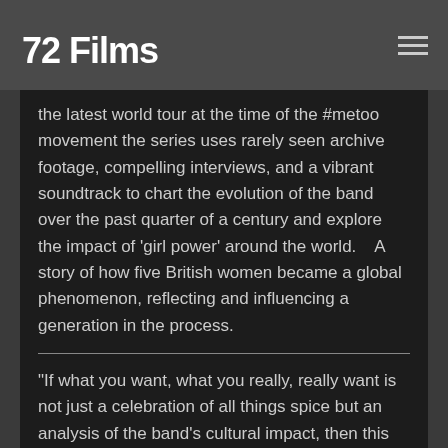72 Films
the latest world tour at the time of the #metoo movement the series uses rarely seen archive footage, compelling interviews, and a vibrant soundtrack to chart the evolution of the band over the past quarter of a century and explore the impact of 'girl power' around the world.   A story of how five British women became a global phenomenon, reflecting and influencing a generation in the process.
“If what you want, what you really, really want is not just a celebration of all things spice but an analysis of the band’s cultural impact, then this film delivers the goods.” – The Times